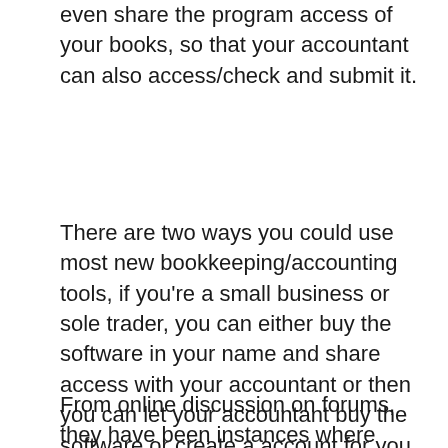even share the program access of your books, so that your accountant can also access/check and submit it.
There are two ways you could use most new bookkeeping/accounting tools, if you're a small business or sole trader, you can either buy the software in your name and share access with your accountant or then you can let your accountant buy the software or create a account for you via their accounting portal.
From online discussion on forums, they have been instances where some accountants have refused to release